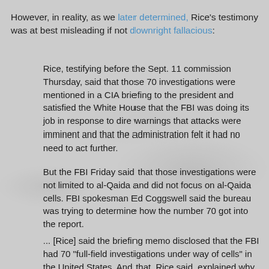However, in reality, as we later determined, Rice's testimony was at best misleading if not downright fallacious:
Rice, testifying before the Sept. 11 commission Thursday, said that those 70 investigations were mentioned in a CIA briefing to the president and satisfied the White House that the FBI was doing its job in response to dire warnings that attacks were imminent and that the administration felt it had no need to act further.
But the FBI Friday said that those investigations were not limited to al-Qaida and did not focus on al-Qaida cells. FBI spokesman Ed Coggswell said the bureau was trying to determine how the number 70 got into the report.
... [Rice] said the briefing memo disclosed that the FBI had 70 "full-field investigations under way of cells" in the United States. And that, Rice said, explained why